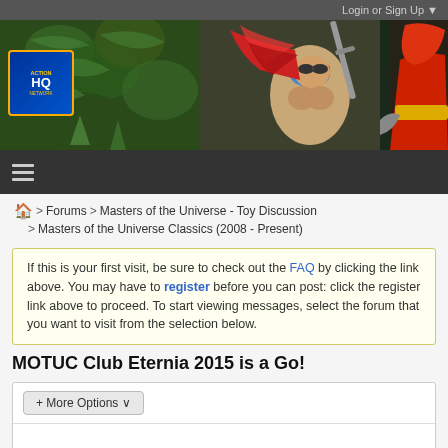Login or Sign Up ▼
[Figure (illustration): Action figure forum banner with illustrated fantasy/action characters and site logo]
≡ (hamburger nav menu)
🏠 > Forums > Masters of the Universe - Toy Discussion > Masters of the Universe Classics (2008 - Present)
If this is your first visit, be sure to check out the FAQ by clicking the link above. You may have to register before you can post: click the register link above to proceed. To start viewing messages, select the forum that you want to visit from the selection below.
MOTUC Club Eternia 2015 is a Go!
+ More Options ∨
Filter ▼